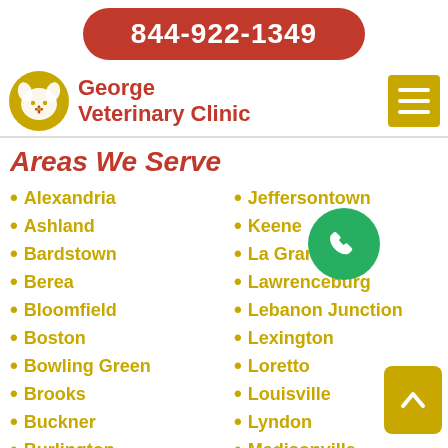844-922-1349
[Figure (logo): George Veterinary Clinic logo with dog/cat silhouette in gold circle and red text reading 'George Veterinary Clinic']
Areas We Serve
Alexandria
Ashland
Bardstown
Berea
Bloomfield
Boston
Bowling Green
Brooks
Buckner
Burlington
Campbellsville
Jeffersontown
Keene
La Grange
Lawrenceburg
Lebanon Junction
Lexington
Loretto
Louisville
Lyndon
Madisonville
Morningside